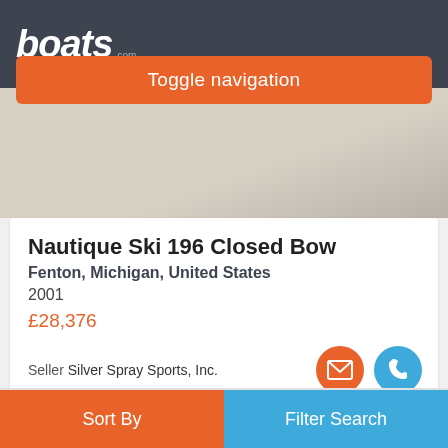boats.com
Toggle navigation
[Figure (photo): Light gray/beige textured background representing a boat photo area]
Nautique Ski 196 Closed Bow
Fenton, Michigan, United States
2001
£28,376
Seller Silver Spray Sports, Inc.
Advertisement
Sort By | Filter Search